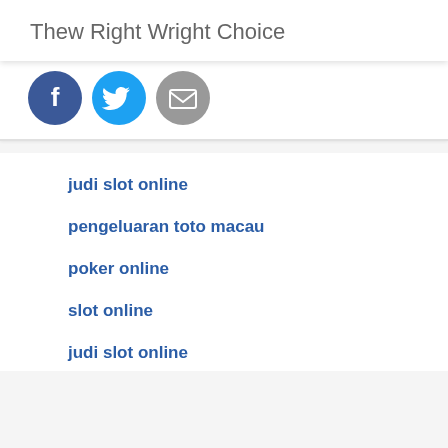Thew Right Wright Choice
[Figure (illustration): Three social media share buttons: Facebook (dark blue circle with 'f' icon), Twitter (light blue circle with bird icon), Email (gray circle with envelope icon)]
judi slot online
pengeluaran toto macau
poker online
slot online
judi slot online